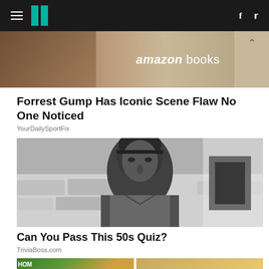HuffPost header with hamburger menu, logo, Facebook and Twitter icons
[Figure (photo): Amazon Books advertisement banner showing people reading]
Forrest Gump Has Iconic Scene Flaw No One Noticed
YourDailySportFix
[Figure (photo): Black and white photograph of a man with dark hair and headband against stone wall background]
Can You Pass This 50s Quiz?
TriviaBoss.com
[Figure (photo): Partial bottom images showing colorful content, cut off at page bottom]